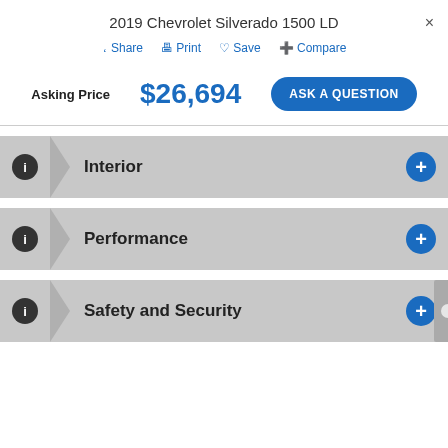2019 Chevrolet Silverado 1500 LD
Share  Print  Save  Compare
Asking Price  $26,694  ASK A QUESTION
Interior
Performance
Safety and Security